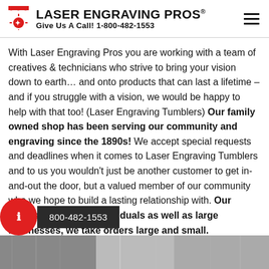LASER ENGRAVING PROS® Give Us A Call! 1-800-482-1553
With Laser Engraving Pros you are working with a team of creatives & technicians who strive to bring your vision down to earth… and onto products that can last a lifetime – and if you struggle with a vision, we would be happy to help with that too! (Laser Engraving Tumblers) Our family owned shop has been serving our community and engraving since the 1890s! We accept special requests and deadlines when it comes to Laser Engraving Tumblers and to us you wouldn't just be another customer to get in-and-out the door, but a valued member of our community who we hope to build a lasting relationship with. Our clients consists of individuals as well as large businesses, we take orders large and small.
[Figure (photo): Metal tumblers photo strip at the bottom of the page]
800-482-1553